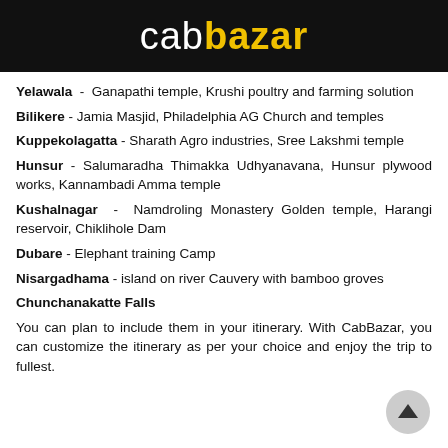cabbazar
Yelawala - Ganapathi temple, Krushi poultry and farming solution
Bilikere - Jamia Masjid, Philadelphia AG Church and temples
Kuppekolagatta - Sharath Agro industries, Sree Lakshmi temple
Hunsur - Salumaradha Thimakka Udhyanavana, Hunsur plywood works, Kannambadi Amma temple
Kushalnagar - Namdroling Monastery Golden temple, Harangi reservoir, Chiklihole Dam
Dubare - Elephant training Camp
Nisargadhama - island on river Cauvery with bamboo groves
Chunchanakatte Falls
You can plan to include them in your itinerary. With CabBazar, you can customize the itinerary as per your choice and enjoy the trip to fullest.